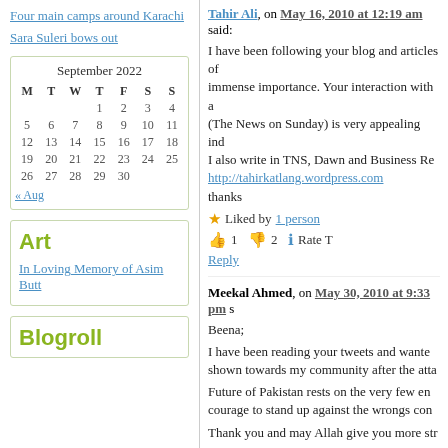Four main camps around Karachi
Sara Suleri bows out
| M | T | W | T | F | S | S |
| --- | --- | --- | --- | --- | --- | --- |
|  |  |  | 1 | 2 | 3 | 4 |
| 5 | 6 | 7 | 8 | 9 | 10 | 11 |
| 12 | 13 | 14 | 15 | 16 | 17 | 18 |
| 19 | 20 | 21 | 22 | 23 | 24 | 25 |
| 26 | 27 | 28 | 29 | 30 |  |  |
« Aug
Art
In Loving Memory of Asim Butt
Blogroll
Tahir Ali, on May 16, 2010 at 12:19 am said:
I have been following your blog and articles of immense importance. Your interaction with a (The News on Sunday) is very appealing ind I also write in TNS, Dawn and Business Re http://tahirkatlang.wordpress.com thanks
Liked by 1 person
👍 1 👎 2 ℹ Rate T
Reply
Meekal Ahmed, on May 30, 2010 at 9:33 pm s
Beena;
I have been reading your tweets and wante shown towards my community after the atta
Future of Pakistan rests on the very few en courage to stand up against the wrongs con
Thank you and may Allah give you more str
Liked by 1 person
👍 2 👎 2 ℹ Rate T